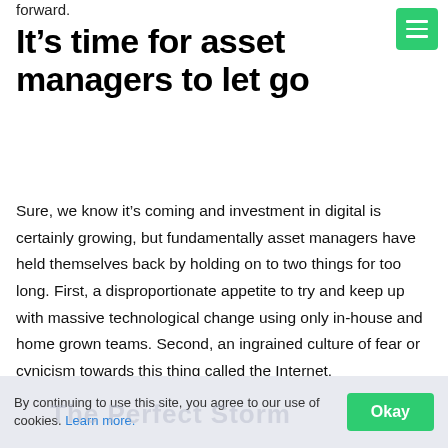forward.
It’s time for asset managers to let go
Sure, we know it’s coming and investment in digital is certainly growing, but fundamentally asset managers have held themselves back by holding on to two things for too long. First, a disproportionate appetite to try and keep up with massive technological change using only in-house and home grown teams. Second, an ingrained culture of fear or cynicism towards this thing called the Internet.
By continuing to use this site, you agree to our use of cookies. Learn more.